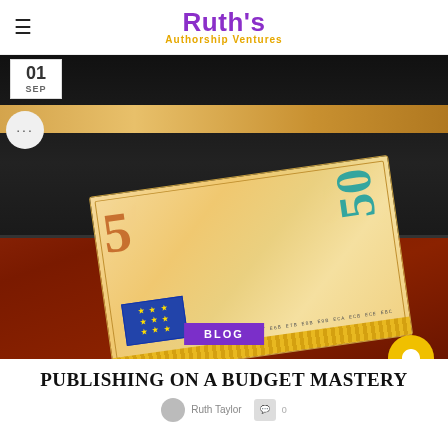Ruth's Authorship Ventures
[Figure (photo): A 50 euro banknote protruding from a black book, placed on a wooden table. A date badge shows '01 SEP' in the upper left corner.]
PUBLISHING ON A BUDGET MASTERY